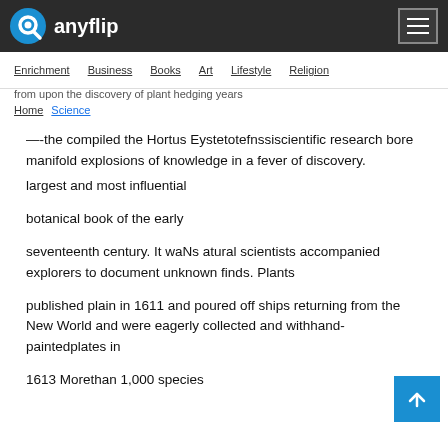anyflip
Enrichment  Business  Books  Art  Lifestyle  Religion
from upon the discovery of plant hedging years
Home  Science
—-the compiled the Hortus Eystetotefnssiscientific research bore manifold explosions of knowledge in a fever of discovery.
largest and most influential
botanical book of the early
seventeenth century. It waNs atural scientists accompanied explorers to document unknown finds. Plants
published plain in 1611 and poured off ships returning from the New World and were eagerly collected and withhand-paintedplates in
1613 Morethan 1,000 species